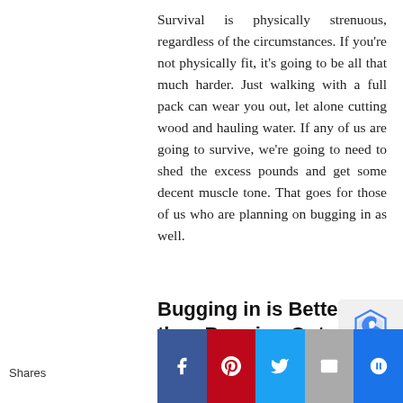Survival is physically strenuous, regardless of the circumstances. If you're not physically fit, it's going to be all that much harder. Just walking with a full pack can wear you out, let alone cutting wood and hauling water. If any of us are going to survive, we're going to need to shed the excess pounds and get some decent muscle tone. That goes for those of us who are planning on bugging in as well.
Bugging in is Better than Bugging Out